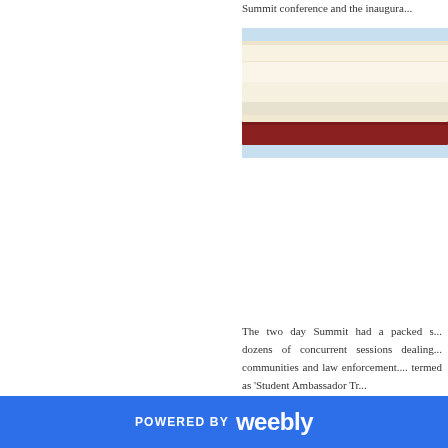Summit conference and the inaugura...
[Figure (photo): Stack of books against a light blue sky, cropped view showing spines and edges of multiple books]
The two day Summit had a packed s... dozens of concurrent sessions dealing... communities and law enforcement.... termed as 'Student Ambassador Tr...
POWERED BY weebly